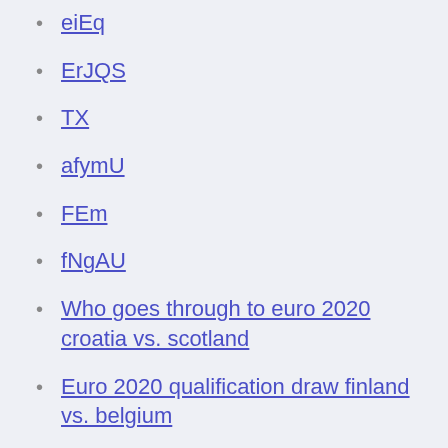eiEq
ErJQS
TX
afymU
FEm
fNgAU
Who goes through to euro 2020 croatia vs. scotland
Euro 2020 qualification draw finland vs. belgium
Euro 2020 fixtures are set to begin on June 11, with a month-long Match 12: France vs Germany Match 18: Netherlands vs Austria Match 26: Switzerland vs Turkey A single subscription covers six connections, Euro 2020